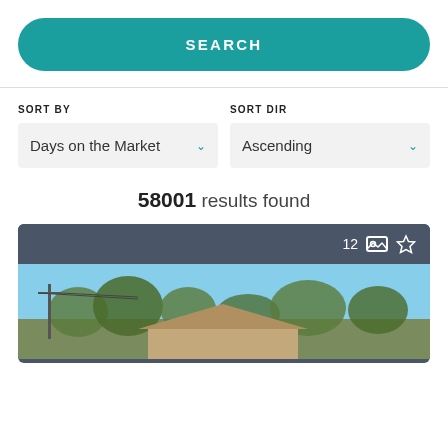SEARCH
SORT BY
Days on the Market
SORT DIR
Ascending
58001 results found
[Figure (photo): House listing photo showing a residential property with trees and blue sky, with overlay showing 12 photos indicator and a star/favorite icon]